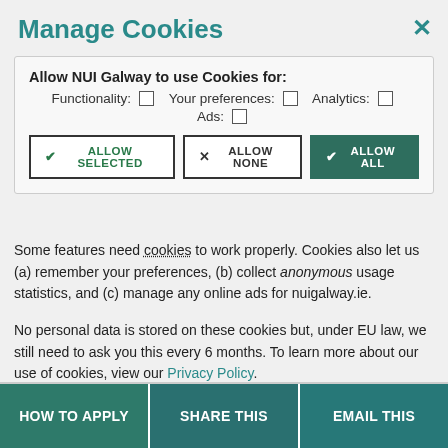Manage Cookies
[Figure (screenshot): Faded background text showing 'National University of Ireland, Galway']
Allow NUI Galway to use Cookies for: Functionality: ☐  Your preferences: ☐  Analytics: ☐  Ads: ☐
ALLOW SELECTED  |  ALLOW NONE  |  ALLOW ALL (buttons)
Some features need cookies to work properly. Cookies also let us (a) remember your preferences, (b) collect anonymous usage statistics, and (c) manage any online ads for nuigalway.ie.
No personal data is stored on these cookies but, under EU law, we still need to ask you this every 6 months. To learn more about our use of cookies, view our Privacy Policy.
HOW TO APPLY
SHARE THIS
EMAIL THIS